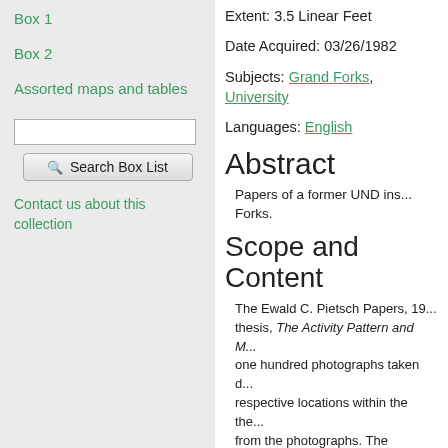Box 1
Box 2
Assorted maps and tables
Search Box List (search input and button)
Contact us about this collection
Extent: 3.5 Linear Feet
Date Acquired: 03/26/1982
Subjects: Grand Forks, University
Languages: English
Abstract
Papers of a former UND ins... Forks.
Scope and Content
The Ewald C. Pietsch Papers, 19... thesis, The Activity Pattern and M... one hundred photographs taken d... respective locations within the the... from the photographs. The reprint... Cabinets, but these have now bee... and geology courses, including a... Arthur G. Leonard, professor of ge...